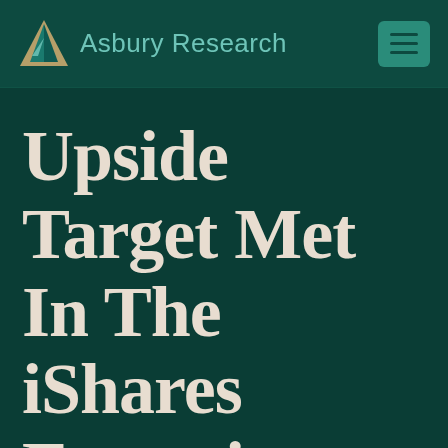[Figure (logo): Asbury Research logo with triangular emblem in teal and gold colors, followed by the text 'Asbury Research' in teal, and a teal hamburger menu button on the right]
Upside Target Met In The iShares Emerging